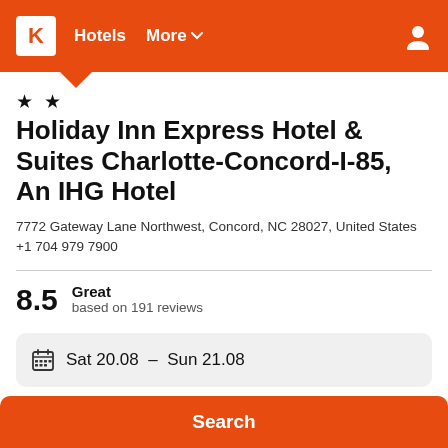K  Hotels  More
★ ★
Holiday Inn Express Hotel & Suites Charlotte-Concord-I-85, An IHG Hotel
7772 Gateway Lane Northwest, Concord, NC 28027, United States
+1 704 979 7900
8.5  Great  based on 191 reviews
Sat 20.08  –  Sun 21.08
1 room, 2 guests
Search